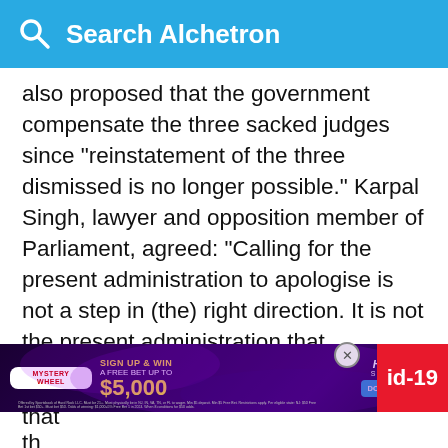Search Alchetron
also proposed that the government compensate the three sacked judges since "reinstatement of the three dismissed is no longer possible." Karpal Singh, lawyer and opposition member of Parliament, agreed: "Calling for the present administration to apologise is not a step in (the) right direction. It is not the present administration that convened those tribunals." Instead, Karpal suggested that a Royal Commission be set up. A few days later, The Malaysian Insider, a news website, reported that the Cabinet was critical of the proposal, citing the potential for legal liability if the go... that th...
[Figure (screenshot): Advertisement banner: Mystery Wheel - Sign Up & Win A Free Bet Up To $5,000. Hard Rock Sportsbook. Download Now button. id-19 badge.]